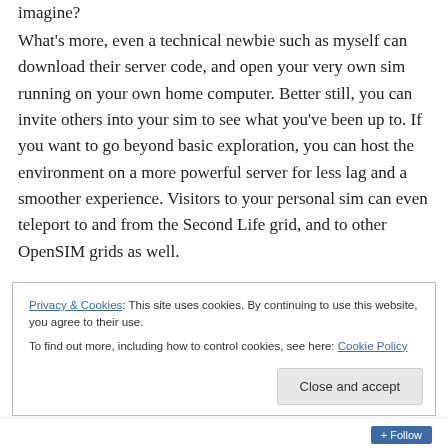imagine?
What's more, even a technical newbie such as myself can download their server code, and open your very own sim running on your own home computer. Better still, you can invite others into your sim to see what you've been up to. If you want to go beyond basic exploration, you can host the environment on a more powerful server for less lag and a smoother experience. Visitors to your personal sim can even teleport to and from the Second Life grid, and to other OpenSIM grids as well.
Privacy & Cookies: This site uses cookies. By continuing to use this website, you agree to their use. To find out more, including how to control cookies, see here: Cookie Policy
Close and accept